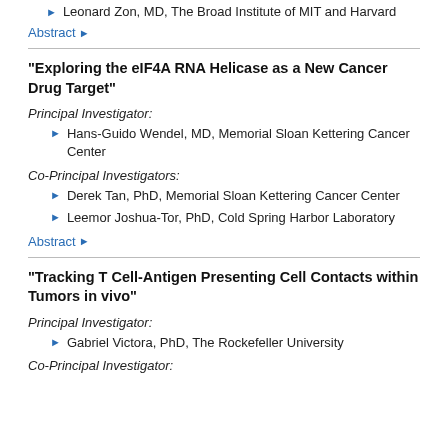Leonard Zon, MD, The Broad Institute of MIT and Harvard
Abstract ▶
"Exploring the eIF4A RNA Helicase as a New Cancer Drug Target"
Principal Investigator:
Hans-Guido Wendel, MD, Memorial Sloan Kettering Cancer Center
Co-Principal Investigators:
Derek Tan, PhD, Memorial Sloan Kettering Cancer Center
Leemor Joshua-Tor, PhD, Cold Spring Harbor Laboratory
Abstract ▶
"Tracking T Cell-Antigen Presenting Cell Contacts within Tumors in vivo"
Principal Investigator:
Gabriel Victora, PhD, The Rockefeller University
Co-Principal Investigator: